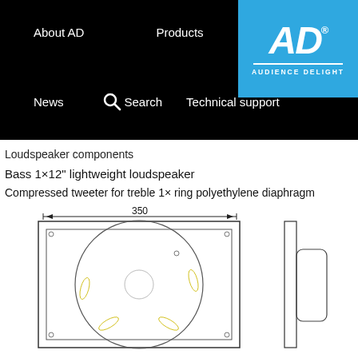About AD   Products   News   Search   Technical support
[Figure (logo): Audience Delight (AD) logo: blue square with white italic bold AD text and AUDIENCE DELIGHT text below a divider line]
Loudspeaker components
Bass 1×12" lightweight loudspeaker
Compressed tweeter for treble 1× ring polyethylene diaphragm
[Figure (engineering-diagram): Technical engineering drawing of a loudspeaker cabinet: front view showing rectangular enclosure with large circular speaker driver (diameter indicated), width dimension labeled 350. Side view on the right showing profile with tweeter horn cutout.]